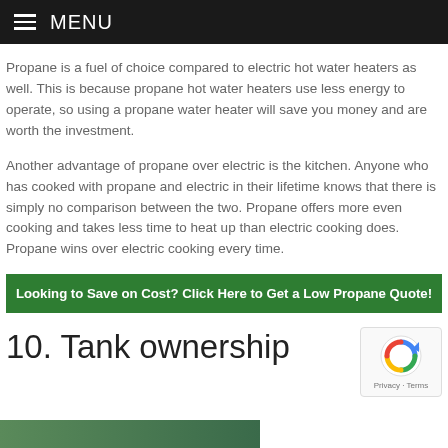MENU
Propane is a fuel of choice compared to electric hot water heaters as well. This is because propane hot water heaters use less energy to operate, so using a propane water heater will save you money and are worth the investment.
Another advantage of propane over electric is the kitchen. Anyone who has cooked with propane and electric in their lifetime knows that there is simply no comparison between the two. Propane offers more even cooking and takes less time to heat up than electric cooking does. Propane wins over electric cooking every time.
Looking to Save on Cost? Click Here to Get a Low Propane Quote!
10. Tank ownership